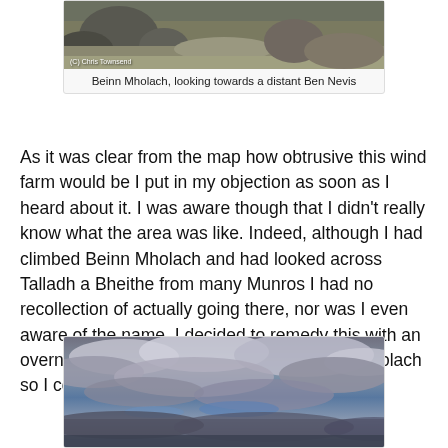[Figure (photo): Landscape photo of rocky terrain on Beinn Mholach with distant Ben Nevis, copyright Chris Townsend]
Beinn Mholach, looking towards a distant Ben Nevis
As it was clear from the map how obtrusive this wind farm would be I put in my objection as soon as I heard about it. I was aware though that I didn't really know what the area was like. Indeed, although I had climbed Beinn Mholach and had looked across Talladh a Bheithe from many Munros I had no recollection of actually going there, nor was I even aware of the name. I decided to remedy this with an overnight visit and another ascent of Beinn Mholach so I could view the area from above.
[Figure (photo): Dramatic sky photograph showing clouds over highland landscape]